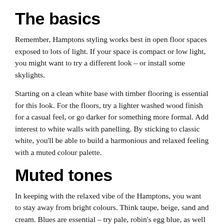The basics
Remember, Hamptons styling works best in open floor spaces exposed to lots of light. If your space is compact or low light, you might want to try a different look – or install some skylights.
Starting on a clean white base with timber flooring is essential for this look. For the floors, try a lighter washed wood finish for a casual feel, or go darker for something more formal. Add interest to white walls with panelling. By sticking to classic white, you'll be able to build a harmonious and relaxed feeling with a muted colour palette.
Muted tones
In keeping with the relaxed vibe of the Hamptons, you want to stay away from bright colours. Think taupe, beige, sand and cream. Blues are essential – try pale, robin's egg blue, as well as nautical blues with a faded finish. Adding charcoal tones can